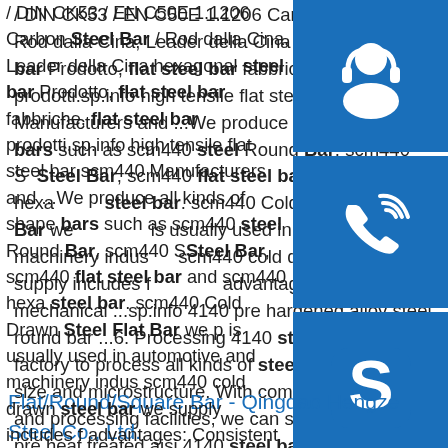/ DIN CK53 / EN C50E 1.1206 Carbon Steel Bar / Rod dalla Cina, Leader della Cina hexagonal steel bar Prodotto, flat steel bar fabbriche, flat steel bar prodotti.sp.info high tensile flat steel bar scm440 Manufacturers and ...We produce all kinds of shape bars such as scm440 steel Round Bar, scm440 Square Steel Bar, scm440 flat steel bar and scm440 hexagonal steel bar. scm440 Cold Drawn Steel Flat Bar we produce is usually used in automotive and machinery industry. scm440 cold drawn steel bar we supply includes following advantages: Consistent mechanical ...sp.info 4140 pre hardened alloy steel round bar ...6. Processing 4140 steel: We are a factory to process all kinds of steel bars on surface, size and microstructure. With complete production and processing facilities, we can supply all kind of pre heat treated aisi 4140 steel bar and pre machining aisi 4140 steel bar as following:
[Figure (illustration): Three blue square buttons stacked vertically on the right side: a headset/customer service icon, a phone/call icon, and a Skype icon]
Flat/Round/Square Bar - Qingdao Hengze Steel Co., Ltd.